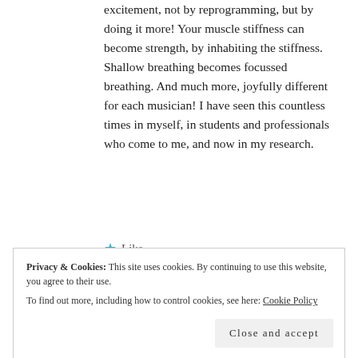excitement, not by reprogramming, but by doing it more! Your muscle stiffness can become strength, by inhabiting the stiffness. Shallow breathing becomes focussed breathing. And much more, joyfully different for each musician! I have seen this countless times in myself, in students and professionals who come to me, and now in my research.
★ Like
Reply
Privacy & Cookies: This site uses cookies. By continuing to use this website, you agree to their use.
To find out more, including how to control cookies, see here: Cookie Policy
Close and accept
real problem for so many musicians. I